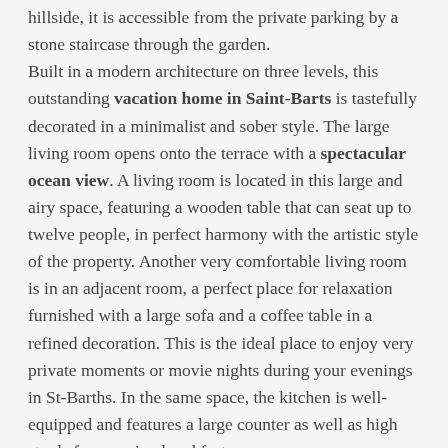hillside, it is accessible from the private parking by a stone staircase through the garden. Built in a modern architecture on three levels, this outstanding vacation home in Saint-Barts is tastefully decorated in a minimalist and sober style. The large living room opens onto the terrace with a spectacular ocean view. A living room is located in this large and airy space, featuring a wooden table that can seat up to twelve people, in perfect harmony with the artistic style of the property. Another very comfortable living room is in an adjacent room, a perfect place for relaxation furnished with a large sofa and a coffee table in a refined decoration. This is the ideal place to enjoy very private moments or movie nights during your evenings in St-Barths. In the same space, the kitchen is well-equipped and features a large counter as well as high stools for morning breakfasts. In the quiet atmosphere of the terrace of the amazing